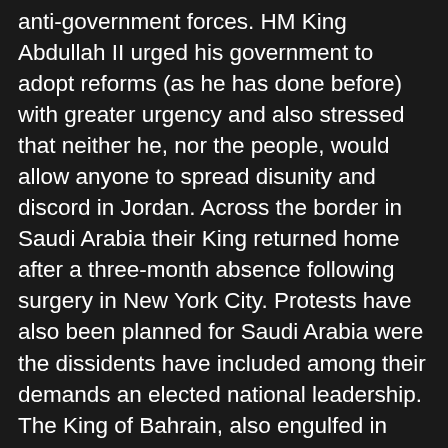anti-government forces. HM King Abdullah II urged his government to adopt reforms (as he has done before) with greater urgency and also stressed that neither he, nor the people, would allow anyone to spread disunity and discord in Jordan. Across the border in Saudi Arabia their King returned home after a three-month absence following surgery in New York City. Protests have also been planned for Saudi Arabia were the dissidents have included among their demands an elected national leadership. The King of Bahrain, also engulfed in unrest recently, was on hand to greet the Saudi monarch who has been particularly concerned with the riots in Bahrain, a Shia majority country ruled by a Sunni Royal Family, worried that the discord to spread to the eastern provinces of Saudi Arabia where Shia Islam is also dominant. The King had been recovering in the North African Kingdom of Morocco where trouble has also broken out. Mobs took the streets Sunday demanding that King Muhammad VI give up most of his powers, dissolve the government and crackdown on corruption. Of course, one must wonder how much the King can be expected to do to combat corruption if his powers are curtailed. Fortunately these protests have not, as yet, taken on a republican tone